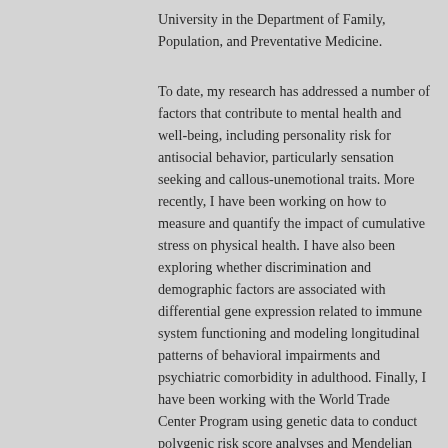University in the Department of Family, Population, and Preventative Medicine.
To date, my research has addressed a number of factors that contribute to mental health and well-being, including personality risk for antisocial behavior, particularly sensation seeking and callous-unemotional traits. More recently, I have been working on how to measure and quantify the impact of cumulative stress on physical health. I have also been exploring whether discrimination and demographic factors are associated with differential gene expression related to immune system functioning and modeling longitudinal patterns of behavioral impairments and psychiatric comorbidity in adulthood. Finally, I have been working with the World Trade Center Program using genetic data to conduct polygenic risk score analyses and Mendelian randomization studies of post-traumatic stress